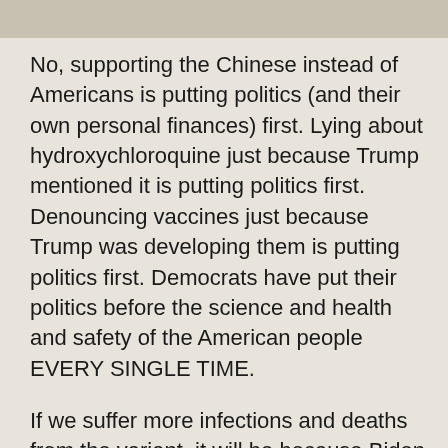No, supporting the Chinese instead of Americans is putting politics (and their own personal finances) first. Lying about hydroxychloroquine just because Trump mentioned it is putting politics first. Denouncing vaccines just because Trump was developing them is putting politics first. Democrats have put their politics before the science and health and safety of the American people EVERY SINGLE TIME.
If we suffer more infections and deaths from the variant, it will be because Biden is an idiot and knows